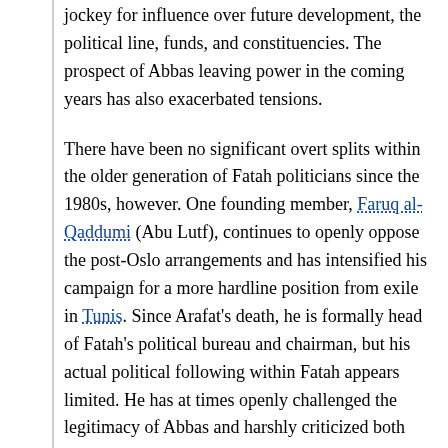jockey for influence over future development, the political line, funds, and constituencies. The prospect of Abbas leaving power in the coming years has also exacerbated tensions.
There have been no significant overt splits within the older generation of Fatah politicians since the 1980s, however. One founding member, Faruq al-Qaddumi (Abu Lutf), continues to openly oppose the post-Oslo arrangements and has intensified his campaign for a more hardline position from exile in Tunis. Since Arafat's death, he is formally head of Fatah's political bureau and chairman, but his actual political following within Fatah appears limited. He has at times openly challenged the legitimacy of Abbas and harshly criticized both him and Mohammed Dahlan, but despite threats to